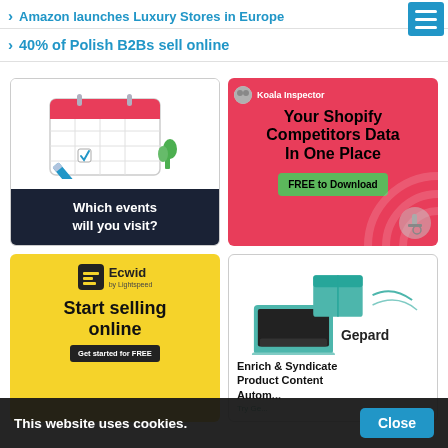> Amazon launches Luxury Stores in Europe
> 40% of Polish B2Bs sell online
[Figure (illustration): Ad: Calendar graphic with pencil and plant, dark bottom bar reading 'Which events will you visit?']
[Figure (illustration): Ad: Koala Inspector on pink background. 'Your Shopify Competitors Data In One Place'. Green button: FREE to Download.]
[Figure (illustration): Ad: Ecwid by Lightspeed, yellow background. 'Start selling online'. Dark button: Get started for FREE.]
[Figure (illustration): Ad: Gepard. Laptop/box illustration with teal accents. 'Enrich & Syndicate Product Content Autom...' Try Ge...]
This website uses cookies.